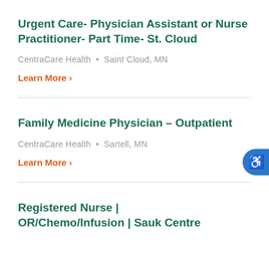Urgent Care- Physician Assistant or Nurse Practitioner- Part Time- St. Cloud
CentraCare Health • Saint Cloud, MN
Learn More ›
Family Medicine Physician – Outpatient
CentraCare Health • Sartell, MN
Learn More ›
Registered Nurse | OR/Chemo/Infusion | Sauk Centre